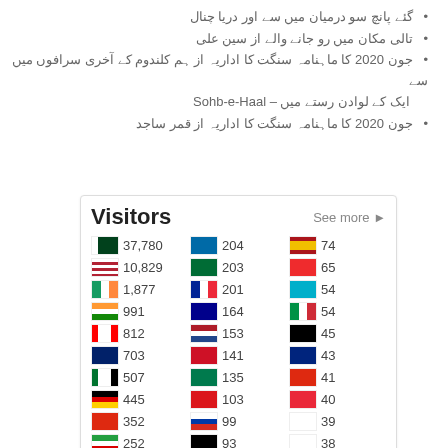گئے پانچ سو درمیان میں سے اور دریا چنال
تالی مکان میں رو جانے والے از سین علی
جون 2020 کا ماہنامہ سنگت کا اداریہ از ہم کلندوم کے آخری سرافوں میں سے ایک کے لوادن رستے میں – Sohb-e-Haal
جون 2020 کا ماہنامہ سنگت کا اداریہ از قمر ساجد
[Figure (infographic): Flag Counter widget showing visitor counts by country. Visitors title with 'See more' link. Countries listed: Pakistan 37,780; USA 10,829; Ireland 1,877; India 991; Canada 812; UK 703; UAE 507; Germany 445; China 352; Iran 252; Sweden 204; Saudi Arabia 203; France 201; Australia 164; Netherlands 153; Bahrain 141; South Africa 135; Oman 103; Russia 99; Afghanistan 93; Spain 74; Norway 65; Kazakhstan 54; Italy 54; Uganda 45; New Zealand 43; China 41; Mauritius 40; South Korea 39; Japan 38. Pageviews: 102,900. FLAG counter branding at bottom.]